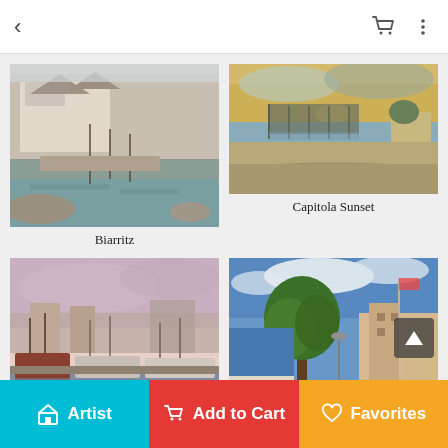< (back) [cart icon] [menu icon]
[Figure (photo): Impressionist painting of a harbor/wharf scene at Biarritz with boats and buildings]
Biarritz
[Figure (photo): Painting of Capitola Sunset showing pier and beach at dusk with golden sky]
Capitola Sunset
[Figure (photo): Impressionist painting of Fisherman's Wharf San Francisco with boats in harbor at sunset]
Fisherman's Wharf, San Fra...
[Figure (photo): Painting of Front Street Lahaina with tropical trees, shops and ocean in background]
Front Street, Lahaina
Artist | Add to Cart | Favorites